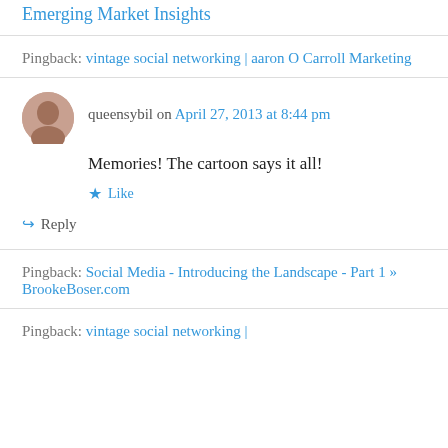Emerging Market Insights
Pingback: vintage social networking | aaron O Carroll Marketing
queensybil on April 27, 2013 at 8:44 pm
Memories! The cartoon says it all!
Like
Reply
Pingback: Social Media - Introducing the Landscape - Part 1 » BrookeBoser.com
Pingback: vintage social networking |